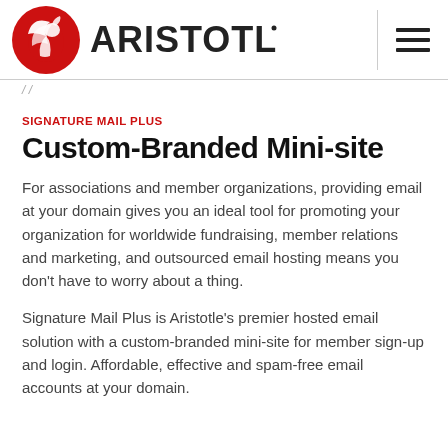[Figure (logo): Aristotle logo — red circular emblem with white horse/griffin figure on left, bold dark text 'ARISTOTLE' on right]
/ /
SIGNATURE MAIL PLUS
Custom-Branded Mini-site
For associations and member organizations, providing email at your domain gives you an ideal tool for promoting your organization for worldwide fundraising, member relations and marketing, and outsourced email hosting means you don't have to worry about a thing.
Signature Mail Plus is Aristotle's premier hosted email solution with a custom-branded mini-site for member sign-up and login. Affordable, effective and spam-free email accounts at your domain.